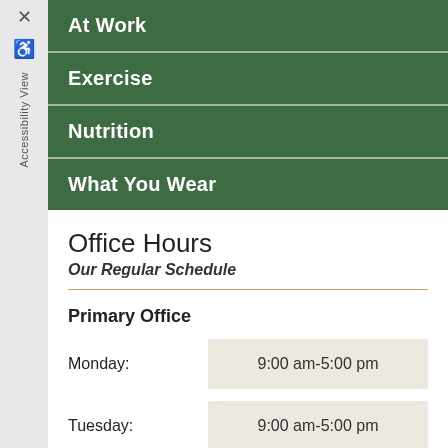At Work
Exercise
Nutrition
What You Wear
Office Hours
Our Regular Schedule
Primary Office
| Day | Hours |
| --- | --- |
| Monday: | 9:00 am-5:00 pm |
| Tuesday: | 9:00 am-5:00 pm |
| Wednesday: | 9:00 am-5:00 pm |